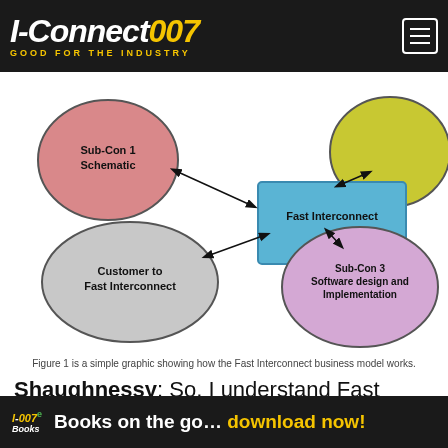I-Connect007 GOOD FOR THE INDUSTRY
[Figure (schematic): Diagram showing Fast Interconnect business model with circles: Sub-Con 1 Schematic (pink), unnamed yellow circle (top right), Customer to Fast Interconnect (gray), Sub-Con 3 Software design and Implementation (purple), all connected by arrows to a central blue rectangle labeled Fast Interconnect.]
Figure 1 is a simple graphic showing how the Fast Interconnect business model works.
Shaughnessy: So, I understand Fast Interconnect is co-owned by a woman? We don't see women starting companies very often in this industry.
I-007e Books  Books on the go... download now!